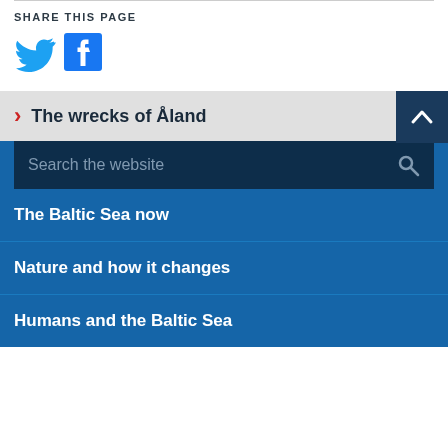SHARE THIS PAGE
[Figure (logo): Twitter bird logo icon in blue]
[Figure (logo): Facebook F logo icon in blue square]
The wrecks of Åland
Search the website
The Baltic Sea now
Nature and how it changes
Humans and the Baltic Sea